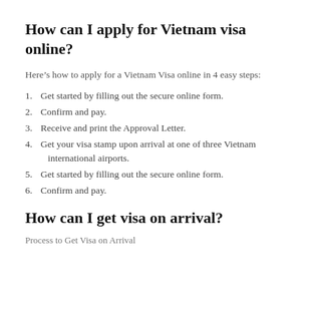How can I apply for Vietnam visa online?
Here’s how to apply for a Vietnam Visa online in 4 easy steps:
1. Get started by filling out the secure online form.
2. Confirm and pay.
3. Receive and print the Approval Letter.
4. Get your visa stamp upon arrival at one of three Vietnam international airports.
5. Get started by filling out the secure online form.
6. Confirm and pay.
How can I get visa on arrival?
Process to Get Visa on Arrival